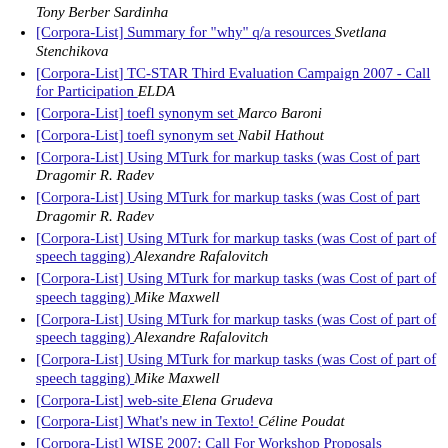Tony Berber Sardinha
[Corpora-List] Summary for "why" q/a resources  Svetlana Stenchikova
[Corpora-List] TC-STAR Third Evaluation Campaign 2007 - Call for Participation  ELDA
[Corpora-List] toefl synonym set  Marco Baroni
[Corpora-List] toefl synonym set  Nabil Hathout
[Corpora-List] Using MTurk for markup tasks (was Cost of part  Dragomir R. Radev
[Corpora-List] Using MTurk for markup tasks (was Cost of part  Dragomir R. Radev
[Corpora-List] Using MTurk for markup tasks (was Cost of part of speech tagging)  Alexandre Rafalovitch
[Corpora-List] Using MTurk for markup tasks (was Cost of part of speech tagging)  Mike Maxwell
[Corpora-List] Using MTurk for markup tasks (was Cost of part of speech tagging)  Alexandre Rafalovitch
[Corpora-List] Using MTurk for markup tasks (was Cost of part of speech tagging)  Mike Maxwell
[Corpora-List] web-site  Elena Grudeva
[Corpora-List] What's new in Texto!  Céline Poudat
[Corpora-List] WISE 2007: Call For Workshop Proposals  Mohand-Said Hacid
[Corpora-List] word frequencies on the web  Tony Berber Sardinha